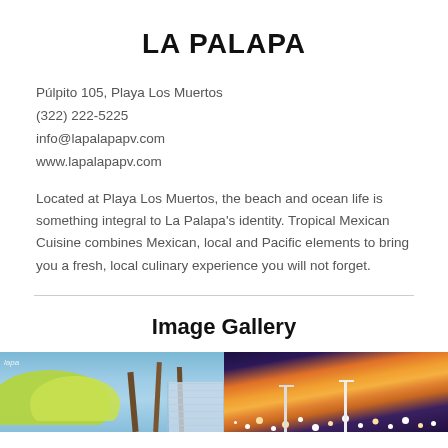LA PALAPA
Púlpito 105, Playa Los Muertos
(322) 222-5225
info@lapalapapv.com
www.lapalapapv.com
Located at Playa Los Muertos, the beach and ocean life is something integral to La Palapa's identity. Tropical Mexican Cuisine combines Mexican, local and Pacific elements to bring you a fresh, local culinary experience you will not forget.
Image Gallery
[Figure (photo): Two side-by-side outdoor photos: left shows green beach umbrellas with palm trees and blue sky; right shows a vivid sunset cityscape with lights and colorful sky.]